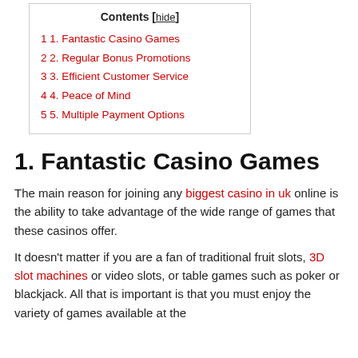| Contents [hide] |
| --- |
| 1 1. Fantastic Casino Games |
| 2 2. Regular Bonus Promotions |
| 3 3. Efficient Customer Service |
| 4 4. Peace of Mind |
| 5 5. Multiple Payment Options |
1. Fantastic Casino Games
The main reason for joining any biggest casino in uk online is the ability to take advantage of the wide range of games that these casinos offer.
It doesn't matter if you are a fan of traditional fruit slots, 3D slot machines or video slots, or table games such as poker or blackjack. All that is important is that you must enjoy the variety of games available at the